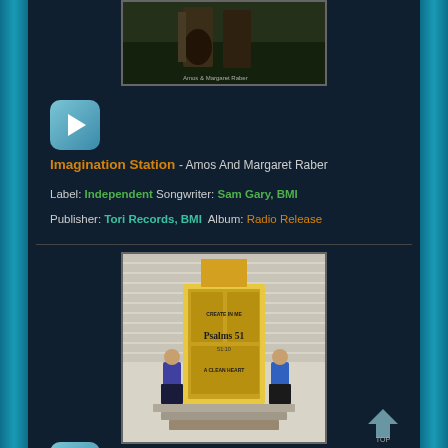[Figure (photo): Album cover photo of Amos and Margaret Raber standing outdoors near a wooden fence with a guitar]
[Figure (other): Blue play button (video/audio player control)]
Imagination Station - Amos And Margaret Raber
Label: Independent Songwriter: Sam Gary, BMI
Publisher: Tori Records, BMI  Album: Radio Release
[Figure (photo): Photo of man and woman standing in front of a church door with text 'CREATE IN ME Psalms 51 31:10 A CLEAN HEART']
[Figure (other): Blue play button (video/audio player control)]